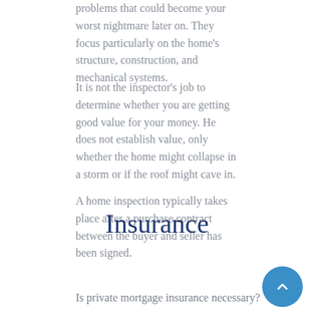problems that could become your worst nightmare later on. They focus particularly on the home's structure, construction, and mechanical systems.
It is not the inspector's job to determine whether you are getting good value for your money. He does not establish value, only whether the home might collapse in a storm or if the roof might cave in.
A home inspection typically takes place after a purchase contract between the buyer and seller has been signed.
Insurance
Is private mortgage insurance necessary?